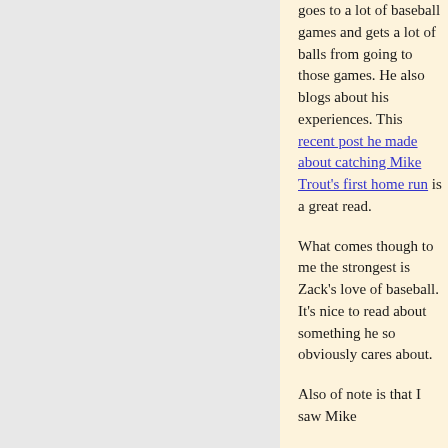goes to a lot of baseball games and gets a lot of balls from going to those games. He also blogs about his experiences. This recent post he made about catching Mike Trout's first home run is a great read.

What comes though to me the strongest is Zack's love of baseball. It's nice to read about something he so obviously cares about.

Also of note is that I saw Mike